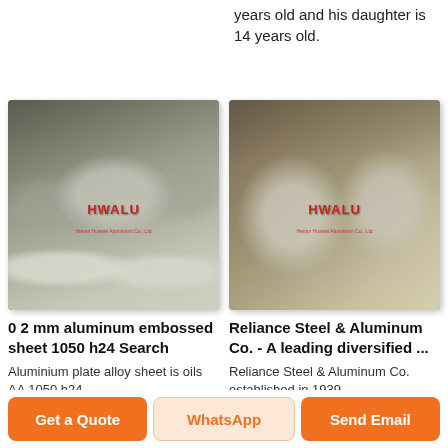years old and his daughter is 14 years old.
[Figure (photo): Stacked aluminum circle discs on shelves in a warehouse, with HWALU (Henan Huawei Aluminium Co., Ltd) watermark]
[Figure (photo): Wrapped aluminum coils/rolls on wooden pallets in a warehouse, with HWALU (Henan Huawei Aluminium Co., Ltd) watermark]
0 2 mm aluminum embossed sheet 1050 h24 Search
Aluminium plate alloy sheet is oils AA 1050 h24
Reliance Steel & Aluminum Co. - A leading diversified ...
Reliance Steel & Aluminum Co. established in 1939
Get a Quote
WhatsApp
Send Email